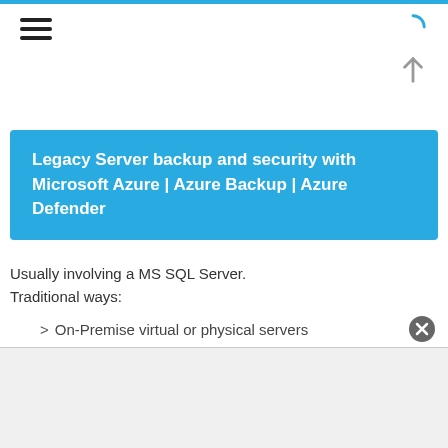Legacy Server backup and security with Microsoft Azure | Azure Backup | Azure Defender
Usually involving a MS SQL Server.
Traditional ways:
> On-Premise virtual or physical servers
> Server backup and disaster recovery
> No antivirus or 3rd party antivirus
Migrate to Modernized ways: